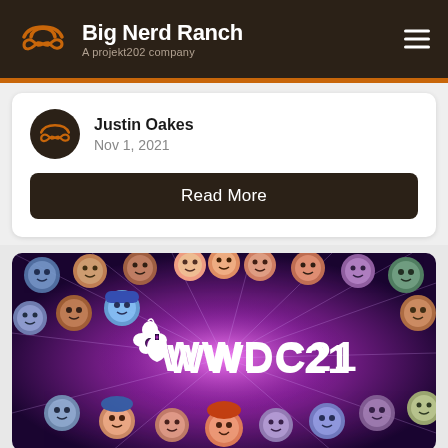Big Nerd Ranch — A projekt202 company
Justin Oakes
Nov 1, 2021
Read More
[Figure (photo): Apple WWDC21 promotional image showing animated Memoji-style characters surrounding the Apple logo and 'WWDC21' text on a purple glowing background]